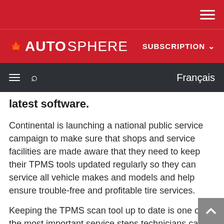AUTOSPHERE — SUBSCRIPTION
Français
latest software.
Continental is launching a national public service campaign to make sure that shops and service facilities are made aware that they need to keep their TPMS tools updated regularly so they can service all vehicle makes and models and help ensure trouble-free and profitable tire services.
Keeping the TPMS scan tool up to date is one of the most important service steps technicians can take because many of the TPMS service issues they may encounter during a tire repair or